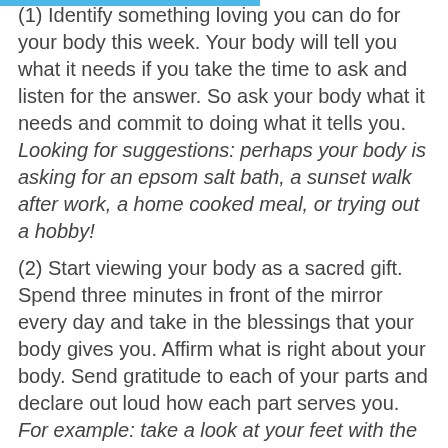(1) Identify something loving you can do for your body this week. Your body will tell you what it needs if you take the time to ask and listen for the answer. So ask your body what it needs and commit to doing what it tells you. Looking for suggestions: perhaps your body is asking for an epsom salt bath, a sunset walk after work, a home cooked meal, or trying out a hobby!
(2) Start viewing your body as a sacred gift. Spend three minutes in front of the mirror every day and take in the blessings that your body gives you. Affirm what is right about your body. Send gratitude to each of your parts and declare out loud how each part serves you. For example: take a look at your feet with the perspective of them allowing you stability, the opportunity to walk around, the ability to ground yourself.
(3) To free yourself from the limitations that impact and sabotage your relationship with your body